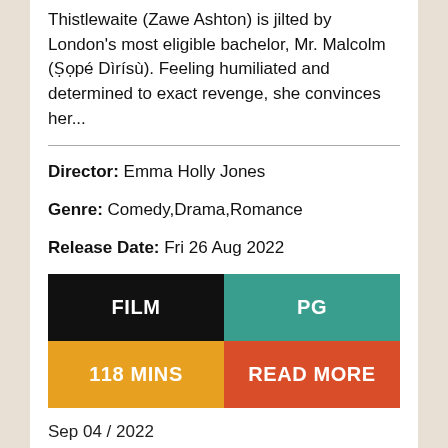Thistlewaite (Zawe Ashton) is jilted by London's most eligible bachelor, Mr. Malcolm (Ṣọpé Dìrísù). Feeling humiliated and determined to exact revenge, she convinces her...
Director: Emma Holly Jones
Genre: Comedy,Drama,Romance
Release Date: Fri 26 Aug 2022
|  |  |
| --- | --- |
| FILM | PG |
| 118 MINS | READ MORE |
Sep 04 / 2022